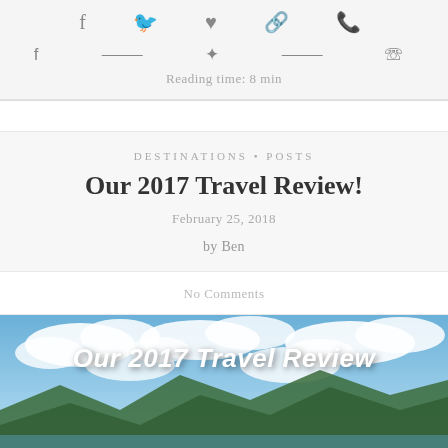f  ✦  ♥  ⌂  ☏  Reading time: 8 min
DESTINATIONS • POSTS
Our 2017 Travel Review!
February 25, 2018
by Ben
No Comments
[Figure (photo): Hero banner photo showing mountain landscape with blue sky and clouds, overlaid with bold italic text 'Our 2017 Travel Review']